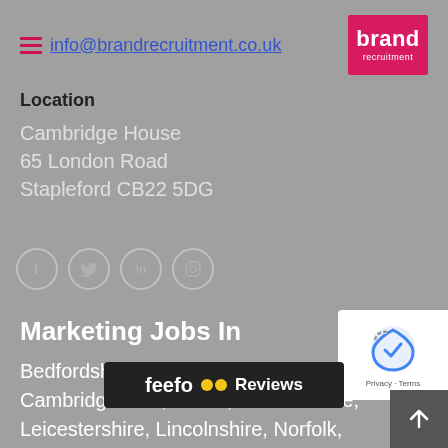info@brandrecruitment.co.uk
[Figure (logo): Brand Recruitment logo: pink/magenta square with 'brand' in bold white text and 'recruitment' below in smaller white text]
Location
Cambridge House
65 London Road
Stapleford CB22 5DG
[Figure (infographic): Social media icons row: Facebook (f), Twitter (bird), LinkedIn (in), Instagram (camera) — circular outlined icons]
Marketing Jobs In
Bedfordshire, Berkshire, Buckinghamshire, Cambridgeshire, Essex, Hertfordshire, Leicestershire, Lincolnshire, Norfolk, Northamptonshire, Oxfordshire, Suffolk, Agency, Communication/PR, Events, Insight and Category, Digital
[Figure (other): reCAPTCHA widget with logo and Privacy - Terms links]
[Figure (other): Feefo reviews badge in dark bar at bottom]
[Figure (other): Scroll-to-top arrow button at bottom right]